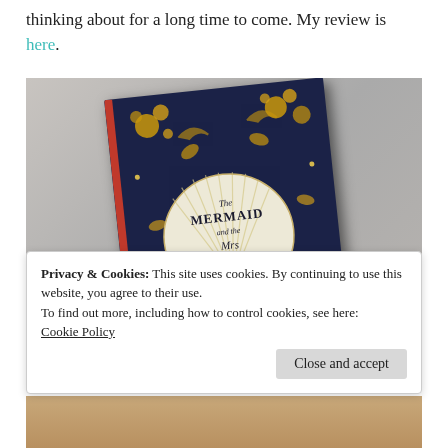thinking about for a long time to come. My review is here.
[Figure (photo): Book cover photo of 'The Mermaid and Mrs Hancock' — dark navy background with gold floral and bird decorations, with a white fan/shell shape in the center bearing the title text. Book is photographed at a slight angle on a neutral beige background.]
Privacy & Cookies: This site uses cookies. By continuing to use this website, you agree to their use.
To find out more, including how to control cookies, see here:
Cookie Policy